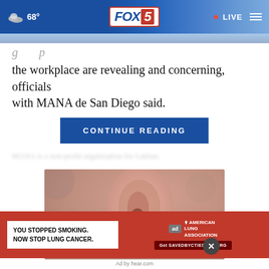FOX 5 — 68° — LIVE
the workplace are revealing and concerning, officials with MANA de San Diego said.
CONTINUE READING
MANA is a non-profit organization for Latinas
[Figure (photo): Close-up photo of a person inserting an earplug into their ear]
[Figure (other): Advertisement: YOU STOPPED SMOKING. NOW STOP LUNG CANCER. American Lung Association. Get SAVEDBYCTIESCAN.ORG]
Ad by hear.com